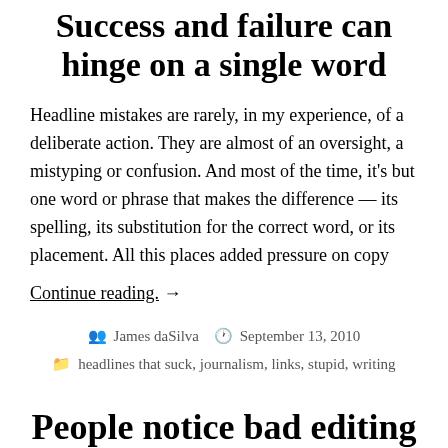Success and failure can hinge on a single word
Headline mistakes are rarely, in my experience, of a deliberate action. They are almost of an oversight, a mistyping or confusion. And most of the time, it's but one word or phrase that makes the difference — its spelling, its substitution for the correct word, or its placement. All this places added pressure on copy
Continue reading. →
James daSilva   September 13, 2010
headlines that suck, journalism, links, stupid, writing
People notice bad editing